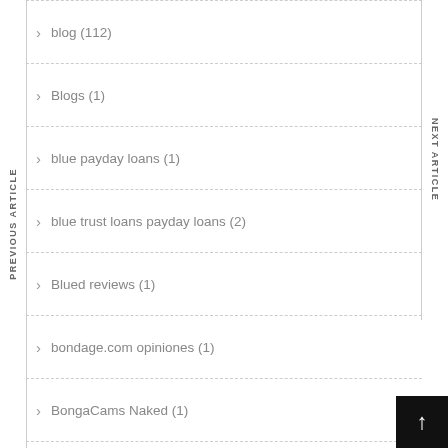blog (112)
Blogs (1)
blue payday loans (1)
blue trust loans payday loans (2)
Blued reviews (1)
bondage.com opiniones (1)
BongaCams Naked (1)
brazilcupid hookup (1)